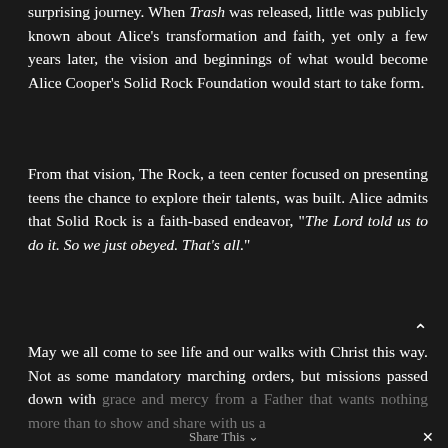surprising journey. When Trash was released, little was publicly known about Alice's transformation and faith, yet only a few years later, the vision and beginnings of what would become Alice Cooper's Solid Rock Foundation would start to take form.
From that vision, The Rock, a teen center focused on presenting teens the chance to explore their talents, was built. Alice admits that Solid Rock is a faith-based endeavor, "The Lord told us to do it. So we just obeyed. That's all."
May we all come to see life and our walks with Christ this way. Not as some mandatory marching orders, but missions passed down with grace and mercy from a Father that wants nothing more than to show and share with us a
Share This